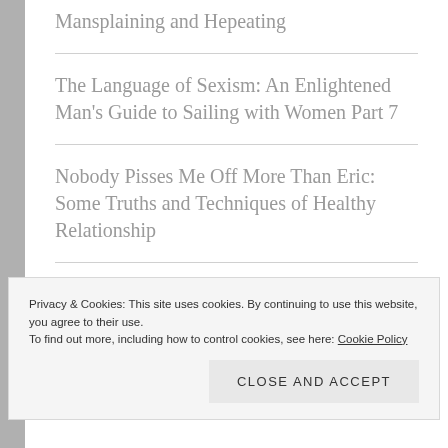Mansplaining and Hepeating
The Language of Sexism: An Enlightened Man's Guide to Sailing with Women Part 7
Nobody Pisses Me Off More Than Eric: Some Truths and Techniques of Healthy Relationship
The Scariest Halloween Post: Meet Basic Jenny
Privacy & Cookies: This site uses cookies. By continuing to use this website, you agree to their use.
To find out more, including how to control cookies, see here: Cookie Policy
Close and accept